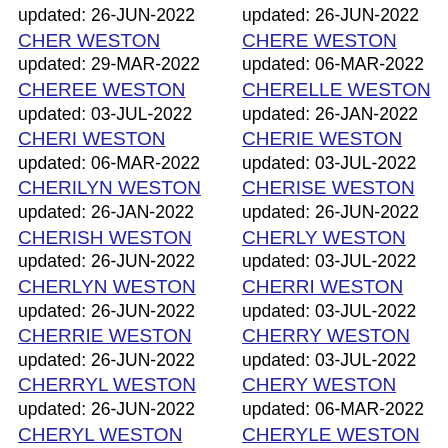updated: 26-JUN-2022
CHER WESTON
updated: 26-JUN-2022
CHERE WESTON
updated: 29-MAR-2022
CHEREE WESTON
updated: 06-MAR-2022
CHERELLE WESTON
updated: 03-JUL-2022
CHERI WESTON
updated: 26-JAN-2022
CHERIE WESTON
updated: 06-MAR-2022
CHERILYN WESTON
updated: 03-JUL-2022
CHERISE WESTON
updated: 26-JAN-2022
CHERISH WESTON
updated: 26-JUN-2022
CHERLY WESTON
updated: 26-JUN-2022
CHERLYN WESTON
updated: 03-JUL-2022
CHERRI WESTON
updated: 26-JUN-2022
CHERRIE WESTON
updated: 03-JUL-2022
CHERRY WESTON
updated: 26-JUN-2022
CHERRYL WESTON
updated: 03-JUL-2022
CHERY WESTON
updated: 26-JUN-2022
CHERYL WESTON
updated: 06-MAR-2022
CHERYLE WESTON
updated: 25-APR-2022
CHERYLL WESTON
updated: 26-JUN-2022
CHESTER WESTON